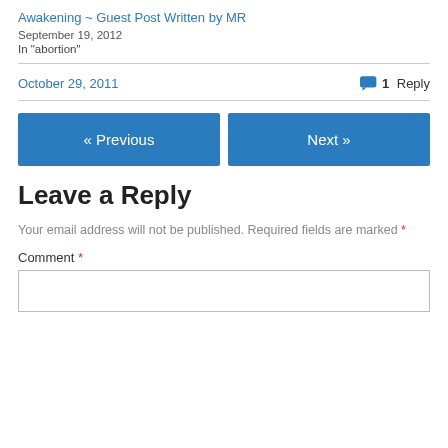Awakening ~ Guest Post Written by MR
September 19, 2012
In "abortion"
October 29, 2011
1 Reply
« Previous
Next »
Leave a Reply
Your email address will not be published. Required fields are marked *
Comment *